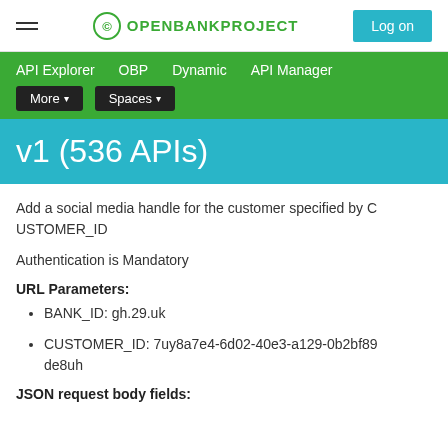OPENBANKPROJECT  Log on
API Explorer   OBP   Dynamic   API Manager   More ▾   Spaces ▾
v1 (536 APIs)
Add a social media handle for the customer specified by CUSTOMER_ID
Authentication is Mandatory
URL Parameters:
BANK_ID: gh.29.uk
CUSTOMER_ID: 7uy8a7e4-6d02-40e3-a129-0b2bf89de8uh
JSON request body fields: